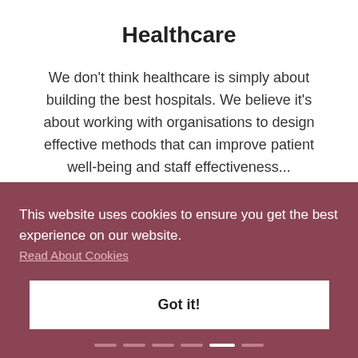Healthcare
We don't think healthcare is simply about building the best hospitals. We believe it's about working with organisations to design effective methods that can improve patient well-being and staff effectiveness...
Read More
This website uses cookies to ensure you get the best experience on our website. Read About Cookies
Got it!